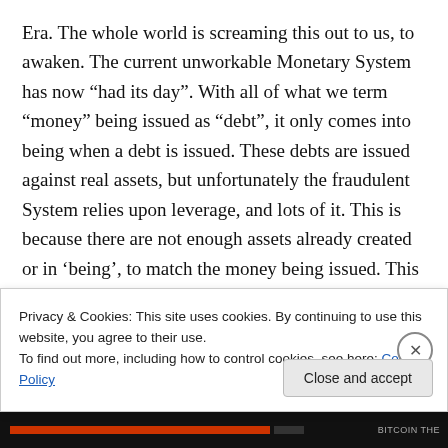Era. The whole world is screaming this out to us, to awaken. The current unworkable Monetary System has now “had its day”. With all of what we term “money” being issued as “debt”, it only comes into being when a debt is issued. These debts are issued against real assets, but unfortunately the fraudulent System relies upon leverage, and lots of it. This is because there are not enough assets already created or in ‘being’, to match the money being issued. This is why the issuance of money (credit) relies increasingly on more and more leveraging. Those issuing these ‘debts’ (called “Money”) are the Banking Cartel who
Privacy & Cookies: This site uses cookies. By continuing to use this website, you agree to their use.
To find out more, including how to control cookies, see here: Cookie Policy
Close and accept